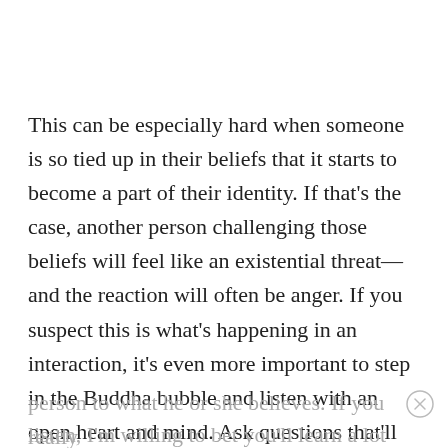This can be especially hard when someone is so tied up in their beliefs that it starts to become a part of their identity. If that’s the case, another person challenging those beliefs will feel like an existential threat—and the reaction will often be anger. If you suspect this is what’s happening in an interaction, it’s even more important to step in the Buddha bubble and listen with an open heart and mind. Ask questions that’ll help you understand the life experiences that led this
person to what he or she believes. If you really
listen, I’m willing to bet you’ll learn a lot from the